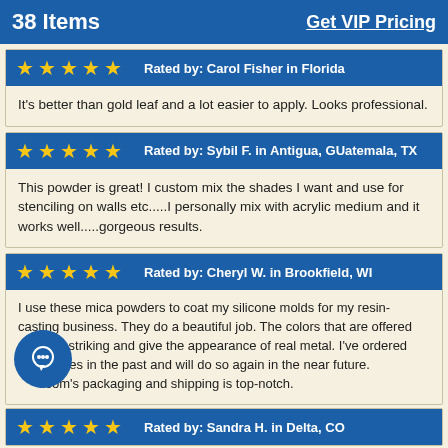38 Items   Get VIP Pricing
Rated by: Carol Fisher in Florida
It's better than gold leaf and a lot easier to apply. Looks professional.
Rated by: Sybil F. in Antigua, GUatemala, TX
This powder is great! I custom mix the shades I want and use for stenciling on walls etc.....I personally mix with acrylic medium and it works well.....gorgeous results.
Rated by: Cheryl W. in Brookfield, WI
I use these mica powders to coat my silicone molds for my resin-casting business. They do a beautiful job. The colors that are offered are very striking and give the appearance of real metal. I've ordered several times in the past and will do so again in the near future. [site].com's packaging and shipping is top-notch.
Rated by: Sandra H. in Delta, CO